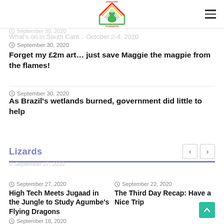Hrant's Ark Foundation logo
conservation work
September 30, 2020
What's on in South Cant... October 2-4, 2020
September 30, 2020
Forget my £2m art… just save Maggie the magpie from the flames!
September 30, 2020
As Brazil's wetlands burned, government did little to help
Lizards
September 27, 2020
High Tech Meets Jugaad in the Jungle to Study Agumbe's Flying Dragons
September 22, 2020
The Third Day Recap: Have a Nice Trip
September 18, 2020